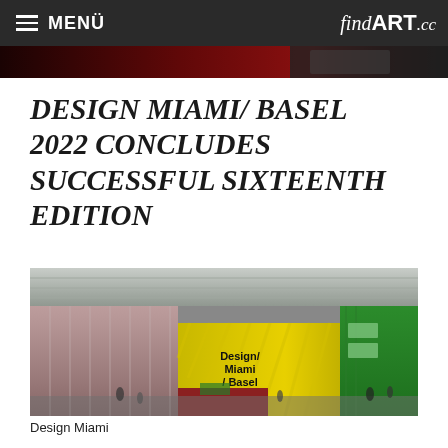≡ MENÜ   findART.cc
DESIGN MIAMI/ BASEL 2022 CONCLUDES SUCCESSFUL SIXTEENTH EDITION
[Figure (photo): Exterior view of the Design Miami/ Basel 2022 venue, showing yellow signage reading 'Design Miami/ Basel' with a green tram passing by and pedestrians in front of a glass building.]
Design Miami